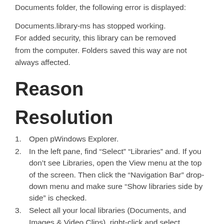Documents folder, the following error is displayed:
Documents.library-ms has stopped working. For added security, this library can be removed from the computer. Folders saved this way are not always affected.
Reason
Resolution
Open pWindows Explorer.
In the left pane, find “Select” “Libraries” and. If you don’t see Libraries, open the View menu at the top of the screen. Then click the “Navigation Bar” drop-down menu and make sure “Show libraries side by side” is checked.
Select all your local libraries (Documents, and Images & Video Clips), right-click and select